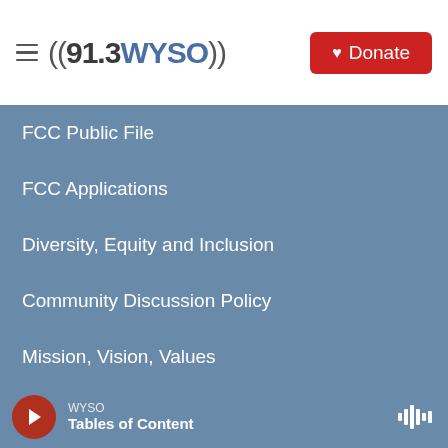((91.3WYSO)) Donate
FCC Public File
FCC Applications
Diversity, Equity and Inclusion
Community Discussion Policy
Mission, Vision, Values
[Figure (logo): Footer logos: NPR, American Public Media, BBC]
WYSO — Tables of Content